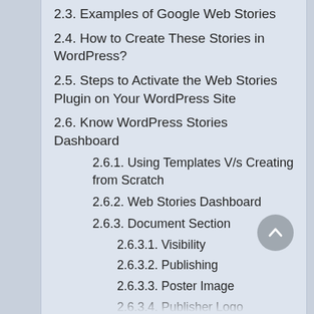2.3. Examples of Google Web Stories
2.4. How to Create These Stories in WordPress?
2.5. Steps to Activate the Web Stories Plugin on Your WordPress Site
2.6. Know WordPress Stories Dashboard
2.6.1. Using Templates V/s Creating from Scratch
2.6.2. Web Stories Dashboard
2.6.3. Document Section
2.6.3.1. Visibility
2.6.3.2. Publishing
2.6.3.3. Poster Image
2.6.3.4. Publisher Logo
2.6.3.5. Story Description